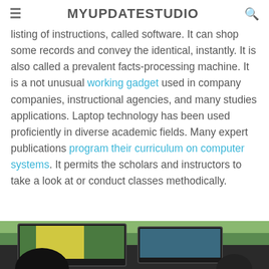MYUPDATESTUDIO
listing of instructions, called software. It can shop some records and convey the identical, instantly. It is also called a prevalent facts-processing machine. It is a not unusual working gadget used in company companies, instructional agencies, and many studies applications. Laptop technology has been used proficiently in diverse academic fields. Many expert publications program their curriculum on computer systems. It permits the scholars and instructors to take a look at or conduct classes methodically.
[Figure (photo): Photo of a person using a computer, with monitors visible in the background, taken in a classroom or office setting]